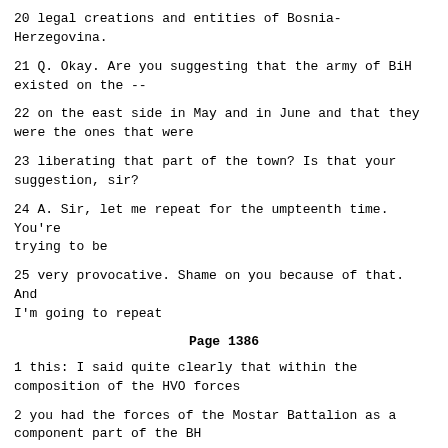20 legal creations and entities of Bosnia-Herzegovina.
21 Q. Okay. Are you suggesting that the army of BiH existed on the --
22 on the east side in May and in June and that they were the ones that were
23 liberating that part of the town? Is that your suggestion, sir?
24 A. Sir, let me repeat for the umpteenth time. You're trying to be
25 very provocative. Shame on you because of that. And I'm going to repeat
Page 1386
1 this: I said quite clearly that within the composition of the HVO forces
2 you had the forces of the Mostar Battalion as a component part of the BH
3 army, not on the left side of town but they were together with the HVO
4 members on the right bank and were put up in Vranica, sir.